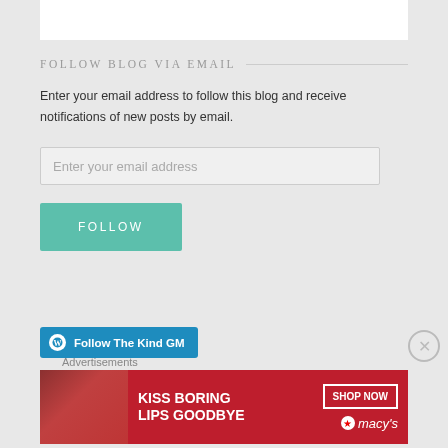[Figure (screenshot): White content box at top of page, partially visible]
FOLLOW BLOG VIA EMAIL
Enter your email address to follow this blog and receive notifications of new posts by email.
Enter your email address
FOLLOW
Follow The Kind GM
Advertisements
[Figure (photo): Macy's advertisement banner: 'KISS BORING LIPS GOODBYE' with SHOP NOW button and Macy's logo, featuring a woman with red lipstick]